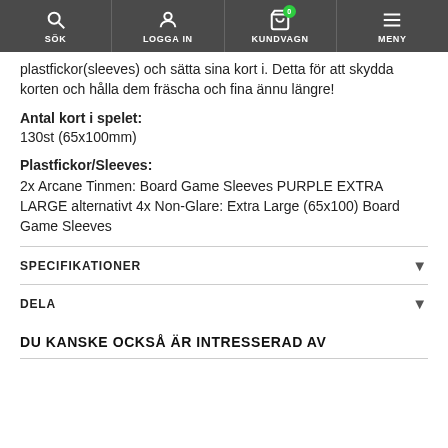SÖK | LOGGA IN | KUNDVAGN 0 | MENY
plastfickor(sleeves) och sätta sina kort i. Detta för att skydda korten och hålla dem fräscha och fina ännu längre!
Antal kort i spelet:
130st (65x100mm)
Plastfickor/Sleeves:
2x Arcane Tinmen: Board Game Sleeves PURPLE EXTRA LARGE alternativt 4x Non-Glare: Extra Large (65x100) Board Game Sleeves
SPECIFIKATIONER
DELA
DU KANSKE OCKSÅ ÄR INTRESSERAD AV